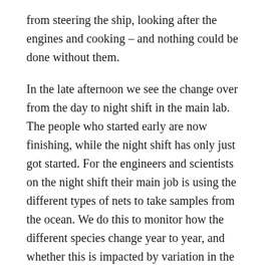from steering the ship, looking after the engines and cooking – and nothing could be done without them.

In the late afternoon we see the change over from the day to night shift in the main lab. The people who started early are now finishing, while the night shift has only just got started. For the engineers and scientists on the night shift their main job is using the different types of nets to take samples from the ocean. We do this to monitor how the different species change year to year, and whether this is impacted by variation in the environment or changes in fishing laws. The samples we take are only small and can only take small creatures – mostly krill, jellyfish, and some small fish. The night shift can last till 3 or 4 am and requires a lot of coffee to